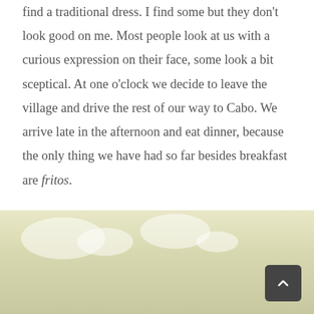find a traditional dress. I find some but they don't look good on me. Most people look at us with a curious expression on their face, some look a bit sceptical. At one o'clock we decide to leave the village and drive the rest of our way to Cabo. We arrive late in the afternoon and eat dinner, because the only thing we have had so far besides breakfast are fritos.
[Figure (photo): A pale yellowish-cream sky with soft clouds, a landscape photo taken from a vehicle or roadside. A dark grey rounded square scroll-to-top button with an upward-pointing chevron is overlaid in the lower-right corner.]